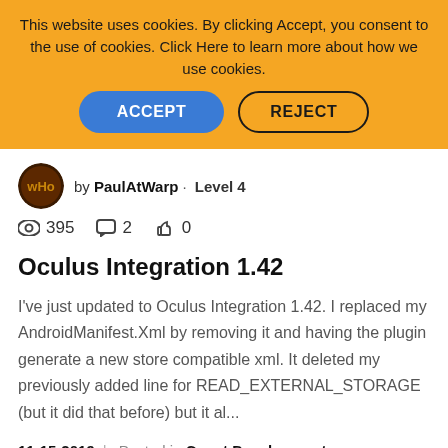This website uses cookies. By clicking Accept, you consent to the use of cookies. Click Here to learn more about how we use cookies.
ACCEPT | REJECT
by PaulAtWarp · Level 4
395  2  0
Oculus Integration 1.42
I've just updated to Oculus Integration 1.42. I replaced my AndroidManifest.Xml by removing it and having the plugin generate a new store compatible xml. It deleted my previously added line for READ_EXTERNAL_STORAGE (but it did that before) but it al...
11-15-2019  |  Posted in Quest Development